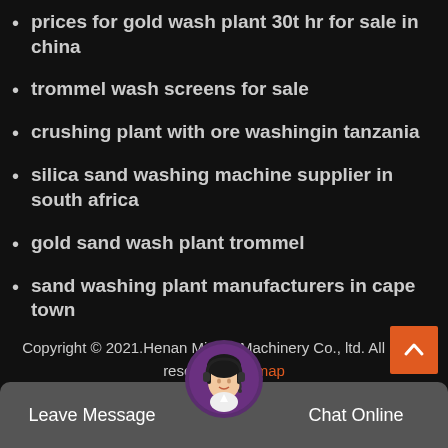prices for gold wash plant 30t hr for sale in china
trommel wash screens for sale
crushing plant with ore washingin tanzania
silica sand washing machine supplier in south africa
gold sand wash plant trommel
sand washing plant manufacturers in cape town
alluvial sand washing plants in south africa
Copyright © 2021.Henan Mining Machinery Co., ltd. All rights reserved. Sitemap
Leave Message  Chat Online